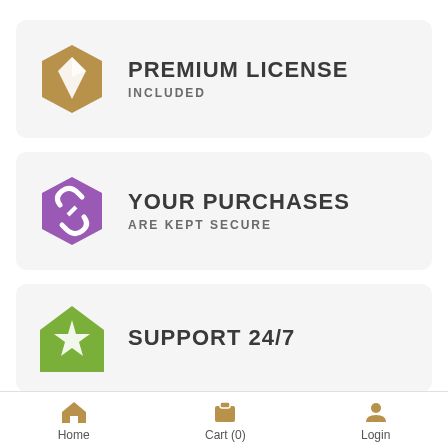[Figure (infographic): Card with gold hexagon gem icon and text PREMIUM LICENSE INCLUDED]
[Figure (infographic): Card with purple hexagon chain link icon and text YOUR PURCHASES ARE KEPT SECURE]
[Figure (infographic): Partial card with green house/star icon and text SUPPORT 24/7]
Home  Cart (0)  Login